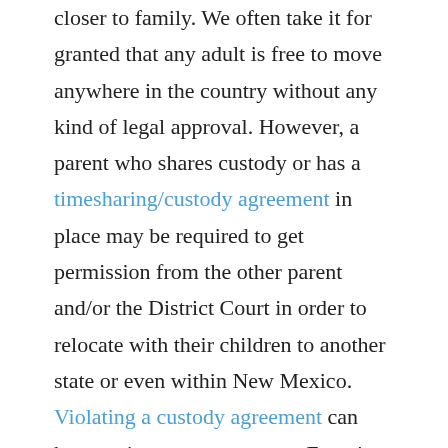closer to family. We often take it for granted that any adult is free to move anywhere in the country without any kind of legal approval. However, a parent who shares custody or has a timesharing/custody agreement in place may be required to get permission from the other parent and/or the District Court in order to relocate with their children to another state or even within New Mexico. Violating a custody agreement can have serious consequences.  Even in cases where no custody or parenting plan exists, moving often requires some extra footwork.
Many parents are unaware that they need to give notice or get permission and they are unsure how to